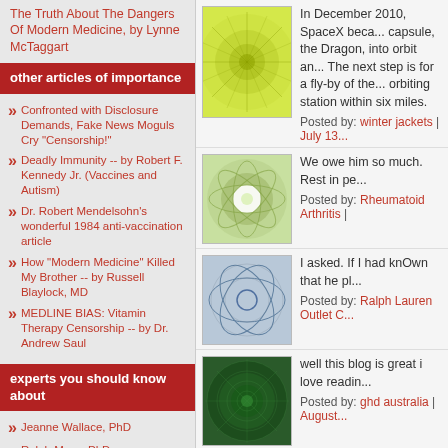The Truth About The Dangers Of Modern Medicine, by Lynne McTaggart
other articles of importance
Confronted with Disclosure Demands, Fake News Moguls Cry "Censorship!"
Deadly Immunity -- by Robert F. Kennedy Jr. (Vaccines and Autism)
Dr. Robert Mendelsohn's wonderful 1984 anti-vaccination article
How "Modern Medicine" Killed My Brother -- by Russell Blaylock, MD
MEDLINE BIAS: Vitamin Therapy Censorship -- by Dr. Andrew Saul
experts you should know about
Jeanne Wallace, PhD
Ralph Moss, PhD
websites and organizations you should know
About Thyroid Disease/More...
[Figure (illustration): Yellow-green circular starburst/mandala decorative thumbnail]
In December 2010, SpaceX beca... capsule, the Dragon, into orbit an... The next step is for a fly-by of the... orbiting station within six miles.
Posted by: winter jackets | July 13...
[Figure (illustration): Green and white floral/mandala decorative thumbnail]
We owe him so much. Rest in pe...
Posted by: Rheumatoid Arthritis |
[Figure (illustration): Blue-grey abstract network/lines decorative thumbnail]
I asked. If I had knOwn that he pl...
Posted by: Ralph Lauren Outlet C...
[Figure (illustration): Dark green spiral/mandala decorative thumbnail]
well this blog is great i love readin...
Posted by: ghd australia | August...
[Figure (illustration): Teal/cyan starburst decorative thumbnail]
This is definitely a blog worth fol... you can also tell that by the huge...
Posted by: nike sneakers | Augus...
[Figure (illustration): Teal/green burst decorative thumbnail]
Good day! I'm looking for any contact details... marketing person that I can com...